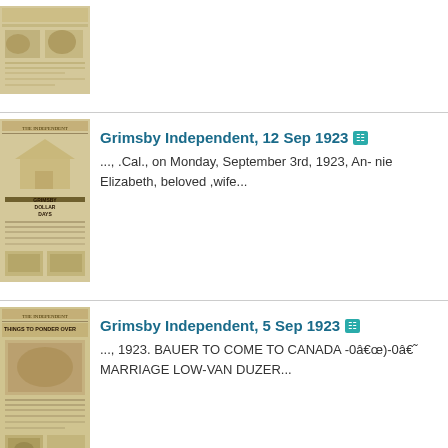[Figure (photo): Thumbnail of a historical newspaper page, partially visible, top row]
[Figure (photo): Thumbnail of Grimsby Independent newspaper front page, September 12 1923, showing 'GRIMSBY DOLLAR DAYS' headline]
Grimsby Independent, 12 Sep 1923
..., .Cal., on Monday, September 3rd, 1923, An- nie Elizabeth, beloved ,wife...
[Figure (photo): Thumbnail of Grimsby Independent newspaper front page, September 5 1923, showing 'THINGS TO PONDER OVER' headline]
Grimsby Independent, 5 Sep 1923
..., 1923. BAUER TO COME TO CANADA -0â€œ)-0â€˜ MARRIAGE LOW-VAN DUZER...